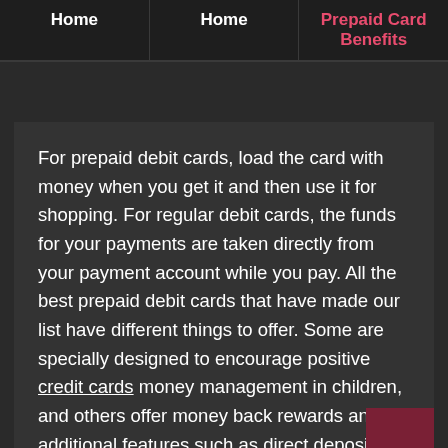Home | Home | Prepaid Card Benefits
For prepaid debit cards, load the card with money when you get it and then use it for shopping. For regular debit cards, the funds for your payments are taken directly from your payment account while you pay. All the best prepaid debit cards that have made our list have different things to offer. Some are specially designed to encourage positive credit cards money management in children, and others offer money back rewards and additional features such as direct deposit, online invoice payment and